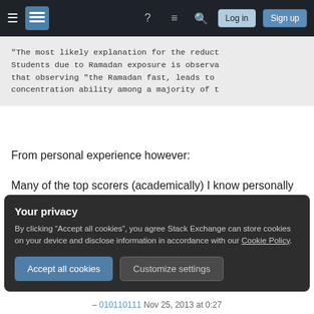Stack Exchange navigation bar with hamburger menu, logo, help, chat, search icons, Log in and Sign up buttons
"The most likely explanation for the reduct Students due to Ramadan exposure is observa that observing "the Ramadan fast, leads to concentration ability among a majority of t
From personal experience however:
Many of the top scorers (academically) I know personally including some family members do not eat breakfast. I think it depends on the person (and you will need time to get used to it.)
Your privacy
By clicking “Accept all cookies”, you agree Stack Exchange can store cookies on your device and disclose information in accordance with our Cookie Policy.
Accept all cookies   Customize settings
– 010110111 Nov 25, 2013 at 0:27